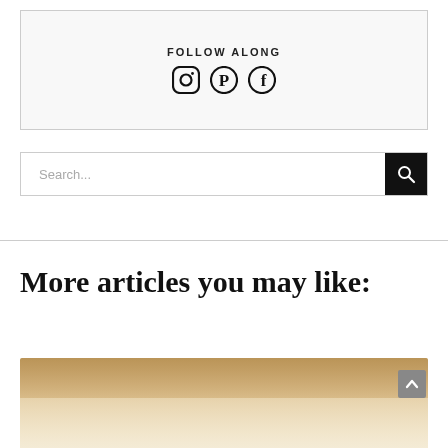FOLLOW ALONG
[Figure (infographic): Social media icons for Instagram, Pinterest, and Facebook in a bordered box with FOLLOW ALONG heading]
[Figure (screenshot): Search bar with placeholder text 'Search...' and a black search button with magnifying glass icon]
More articles you may like:
[Figure (photo): Partially visible food photo with warm beige/golden tones showing what appears to be a baked dish]